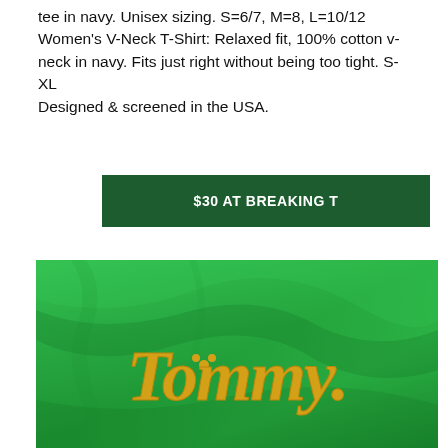tee in navy. Unisex sizing. S=6/7, M=8, L=10/12 Women's V-Neck T-Shirt: Relaxed fit, 100% cotton v-neck in navy. Fits just right without being too tight. S-XL Designed & screened in the USA.
$30 AT BREAKING T
[Figure (photo): Green t-shirt with gold old-English style text reading 'Tommy.' with a shamrock replacing a letter, laid flat showing fabric folds.]